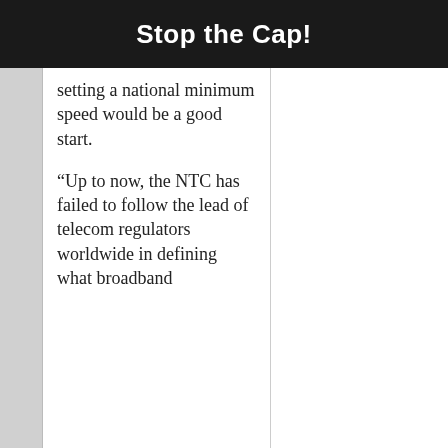Stop the Cap!
setting a national minimum speed would be a good start.
“Up to now, the NTC has failed to follow the lead of telecom regulators worldwide in defining what broadband